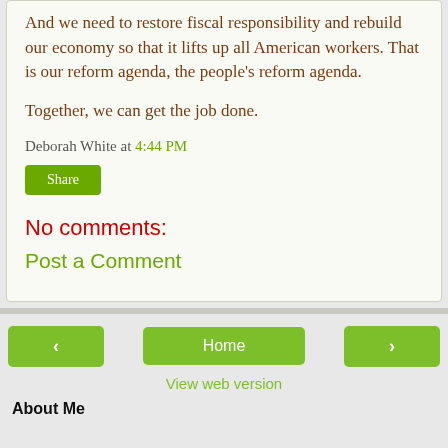And we need to restore fiscal responsibility and rebuild our economy so that it lifts up all American workers. That is our reform agenda, the people's reform agenda.
Together, we can get the job done.
Deborah White at 4:44 PM
Share
No comments:
Post a Comment
Home
View web version
About Me